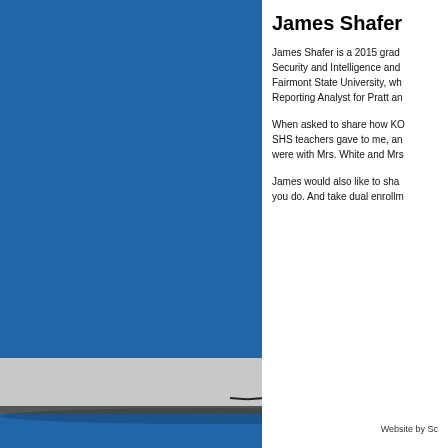[Figure (photo): Blue background with a laptop/desk surface and a wireless mouse in the lower portion of the page]
James Shafer
James Shafer is a 2015 grad... Security and Intelligence and... Fairmont State University, wh... Reporting Analyst for Pratt an...
When asked to share how KO... SHS teachers gave to me, an... were with Mrs. White and Mrs...
James would also like to sha... you do. And take dual enrollm...
Website by Sc...